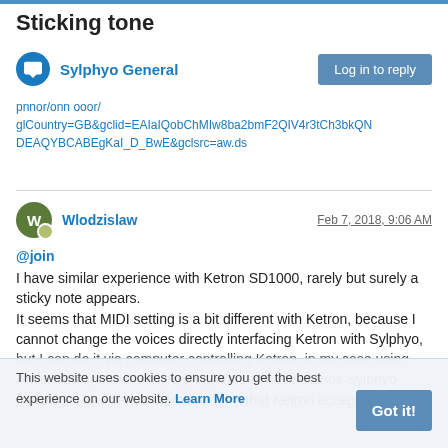Sticking tone
Sylphyo General
Log in to reply
glCountry=GB&gclid=EAIaIQobChMIw8ba2bmF2QIV4r3tCh3bkQNDEAQYBCABEgKaI_D_BwE&gclsrc=aw.ds
Wlodzislaw    Feb 7, 2018, 9:06 AM
@join
I have similar experience with Ketron SD1000, rarely but surely a sticky note appears.
It seems that MIDI setting is a bit different with Ketron, because I cannot change the voices directly interfacing Ketron with Sylphyo, but I can do it via computer controlling Ketron, in my case using Anvil Studio, rather simple program that understands Sylphyo messages and sends them in a form that Ketron accepts.
This website uses cookies to ensure you get the best experience on our website. Learn More
Got it!